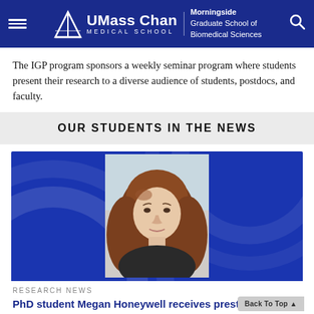UMass Chan Medical School | Morningside Graduate School of Biomedical Sciences
The IGP program sponsors a weekly seminar program where students present their research to a diverse audience of students, postdocs, and faculty.
OUR STUDENTS IN THE NEWS
[Figure (photo): Portrait photo of a woman with long auburn hair against a blue decorative background]
RESEARCH NEWS
PhD student Megan Honeywell receives prestigious